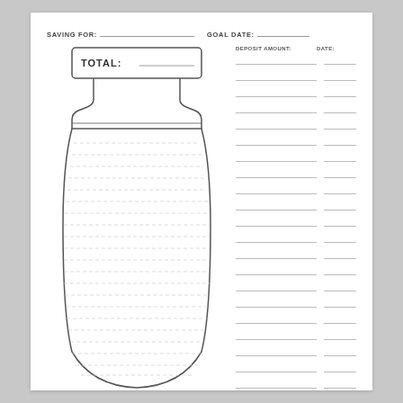SAVING FOR: ___________________ GOAL DATE: ___________
[Figure (illustration): Mason jar savings tracker illustration with 'TOTAL: ___' label on the lid, dashed horizontal lines inside the jar body to shade in as savings grow.]
| DEPOSIT AMOUNT: | DATE: |
| --- | --- |
|  |  |
|  |  |
|  |  |
|  |  |
|  |  |
|  |  |
|  |  |
|  |  |
|  |  |
|  |  |
|  |  |
|  |  |
|  |  |
|  |  |
|  |  |
|  |  |
|  |  |
|  |  |
|  |  |
|  |  |
|  |  |
|  |  |